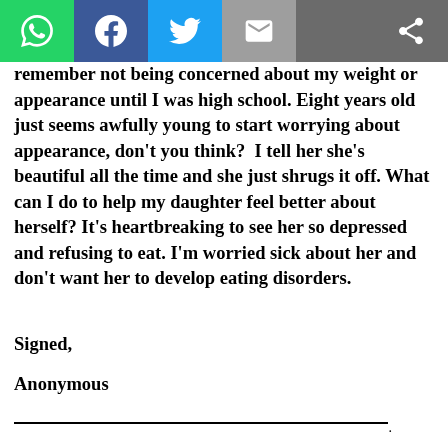[Figure (screenshot): Social media share toolbar with WhatsApp (green), Facebook (blue), Twitter (light blue), Email (grey), and Share icons on dark grey background]
remember not being concerned about my weight or appearance until I was high school. Eight years old just seems awfully young to start worrying about appearance, don’t you think?  I tell her she’s beautiful all the time and she just shrugs it off. What can I do to help my daughter feel better about herself? It’s heartbreaking to see her so depressed and refusing to eat. I’m worried sick about her and don’t want her to develop eating disorders.
Signed,
Anonymous